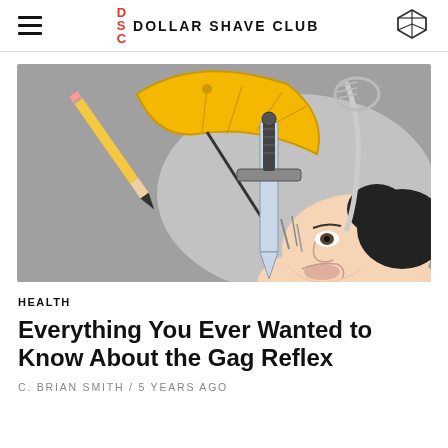DSC DOLLAR SHAVE CLUB
[Figure (illustration): Comic-style illustration of a person lying on their back with mouth open, with a sword, yellow umbrella, pencil, and golf club falling toward their mouth against a gray background.]
HEALTH
Everything You Ever Wanted to Know About the Gag Reflex
C. BRIAN SMITH / 5 YEARS AGO